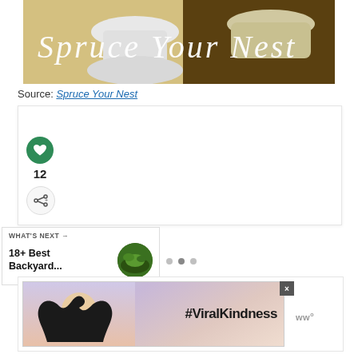[Figure (photo): Photo banner showing a bathroom/home decor scene with cursive script text 'Spruce Your Nest' overlaid in white]
Source: Spruce Your Nest
[Figure (screenshot): Social media card with heart/like button showing count of 12 and a share button]
12
[Figure (infographic): What's Next panel showing '18+ Best Backyard...' with circular thumbnail of green/garden image]
[Figure (photo): Advertisement banner showing hands forming heart shape silhouette with hashtag #ViralKindness]